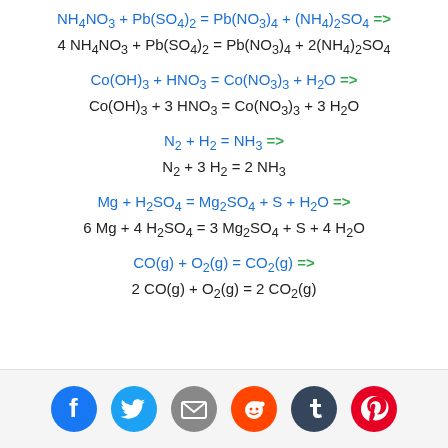[Figure (infographic): Social media sharing icons: Facebook (blue), Twitter (cyan), Email (grey), Reddit (orange), Tumblr (dark navy), Pinterest (red)]